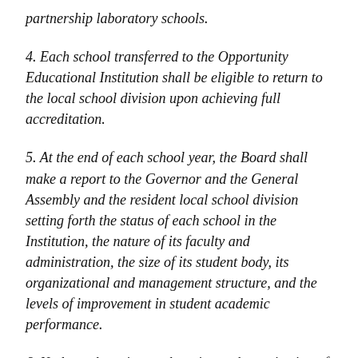partnership laboratory schools.
4. Each school transferred to the Opportunity Educational Institution shall be eligible to return to the local school division upon achieving full accreditation.
5. At the end of each school year, the Board shall make a report to the Governor and the General Assembly and the resident local school division setting forth the status of each school in the Institution, the nature of its faculty and administration, the size of its student body, its organizational and management structure, and the levels of improvement in student academic performance.
6. No later than six months prior to the expiration of a school's fifth year in the Institution, the Board shall decide whether to retain the school in the Institution for a specified number of additional school years or transfer